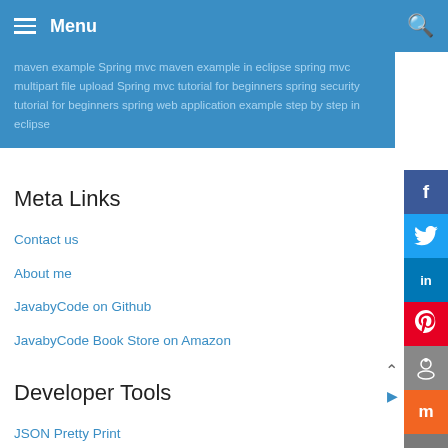Menu
maven example Spring mvc maven example in eclipse spring mvc multipart file upload Spring mvc tutorial for beginners spring security tutorial for beginners spring web application example step by step in eclipse
Meta Links
Contact us
About me
JavabyCode on Github
JavabyCode Book Store on Amazon
Developer Tools
JSON Pretty Print
JSON Formatter Online